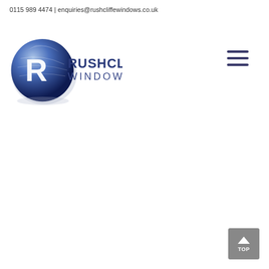0115 989 4474 | enquiries@rushcliffewindows.co.uk
[Figure (logo): Rushcliffe Windows logo — blue globe with letter R and text RUSHCLIFFE WINDOWS]
[Figure (other): Hamburger menu icon — three horizontal dark blue lines]
[Figure (other): Back-to-top button — grey square with upward arrow and text TOP]